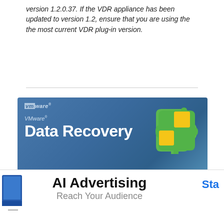version 1.2.0.37. If the VDR appliance has been updated to version 1.2, ensure that you are using the the most current VDR plug-in version.
[Figure (screenshot): VMware Data Recovery 1.2.1 banner image with blue gradient background and VMware puzzle-piece logo icon. Text reads: VMware Data Recovery 1.2.1 - more robust and more reliable]
If more help needed:
Gather the VMware Support Script Data. For more information, see Collecting diagnostic information for VMware products (1008524).
[Figure (screenshot): Partial advertisement banner: AI Advertising - Reach Your Audience. Start button visible at right.]